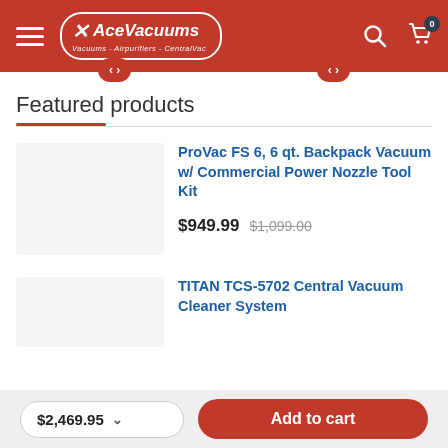AceVacuums — Vacuums · Airpurifiers · CentralVac
Featured products
ProVac FS 6, 6 qt. Backpack Vacuum w/ Commercial Power Nozzle Tool Kit
$949.99  $1,099.00
TITAN TCS-5702 Central Vacuum Cleaner System
$2,469.95  Add to cart